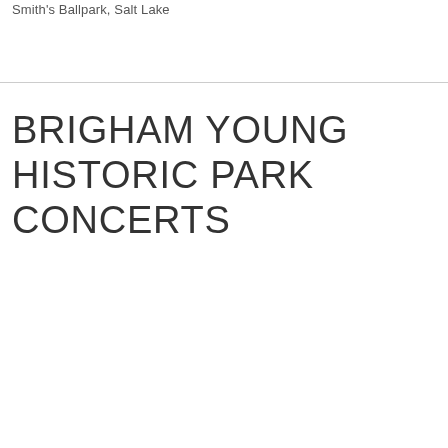Smith's Ballpark, Salt Lake
BRIGHAM YOUNG HISTORIC PARK CONCERTS